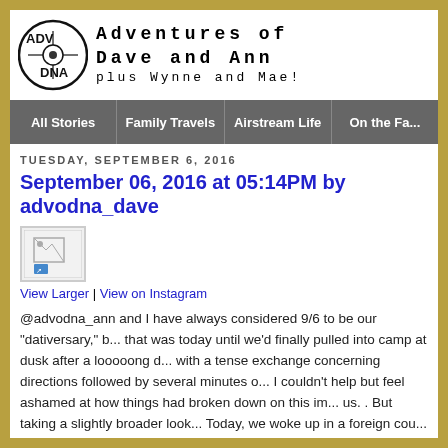Adventures of Dave and Ann plus Wynne and Mae!
September 06, 2016 at 05:14PM by advodna_dave
TUESDAY, SEPTEMBER 6, 2016
[Figure (photo): Small thumbnail image placeholder (broken image icon)]
View Larger | View on Instagram
@advodna_ann and I have always considered 9/6 to be our "dativersary," but that was today until we'd finally pulled into camp at dusk after a looooong d... with a tense exchange concerning directions followed by several minutes o... I couldn't help but feel ashamed at how things had broken down on this im... us. . But taking a slightly broader look... Today, we woke up in a foreign cou... into camp at dark following a two hour ferry ride last night with our two awe... with whom we've been traveling and experiencing North America for the pa... while sharing a living space of under 200 sq ft 24 hours a day, 7 days a we... hours, we've gotten them fed and clothed, stopped for more art supplies...